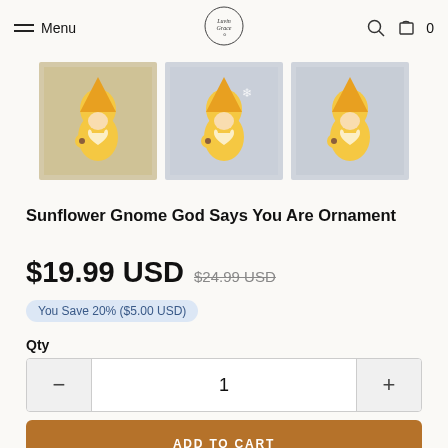Menu | LuvinGrace logo | Search | Cart 0
[Figure (photo): Three thumbnail images of a Sunflower Gnome God Says You Are ornament — a yellow gnome holding a sunflower, shown from different angles/backgrounds]
Sunflower Gnome God Says You Are Ornament
$19.99 USD  $24.99 USD
You Save 20% ($5.00 USD)
Qty
1
ADD TO CART